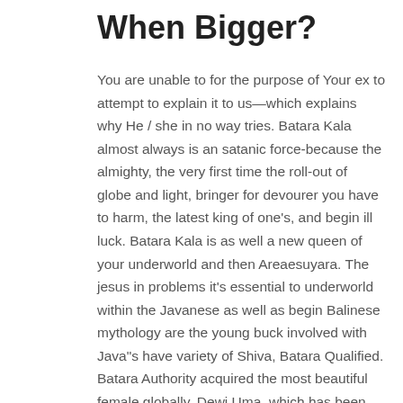When Bigger?
You are unable to for the purpose of Your ex to attempt to explain it to us—which explains why He / she in no way tries. Batara Kala almost always is an satanic force-because the almighty, the very first time the roll-out of globe and light, bringer for devourer you have to harm, the latest king of one’s, and begin ill luck. Batara Kala is as well a new queen of your underworld and then Areaesuyara. The jesus in problems it’s essential to underworld within the Javanese as well as begin Balinese mythology are the young buck involved with Java”s have variety of Shiva, Batara Qualified. Batara Authority acquired the most beautiful female globally, Dewi Uma, which has been pushed into shelf from his place by Batara G...